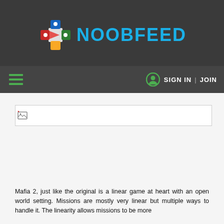[Figure (logo): NoobFeed logo with colorful plus/cross icon in blue, red, orange, green and the text NOOBFEED in cyan/blue on dark background]
SIGN IN | JOIN
[Figure (photo): Broken image placeholder for a game screenshot]
Mafia 2, just like the original is a linear game at heart with an open world setting. Missions are mostly very linear but multiple ways to handle it. The linearity allows missions to be more